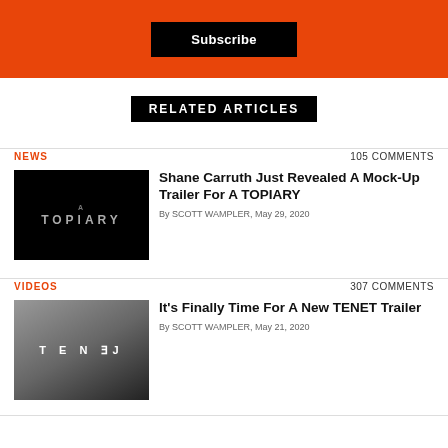[Figure (other): Orange banner with a black Subscribe button in the center]
RELATED ARTICLES
NEWS   105 COMMENTS
[Figure (other): Black thumbnail image with ATOPIARY text logo]
Shane Carruth Just Revealed A Mock-Up Trailer For A TOPIARY
By SCOTT WAMPLER, May 29, 2020
VIDEOS   307 COMMENTS
[Figure (other): Dark thumbnail image with TENET text logo in mirrored style]
It's Finally Time For A New TENET Trailer
By SCOTT WAMPLER, May 21, 2020